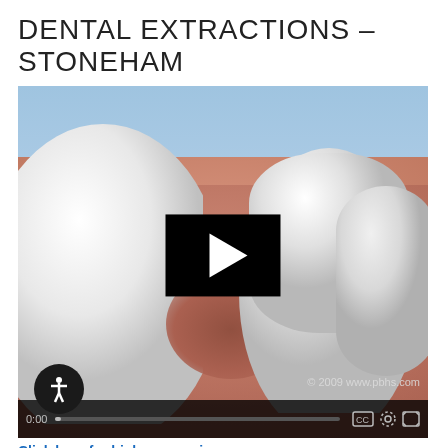DENTAL EXTRACTIONS – STONEHAM
[Figure (screenshot): Video thumbnail of a 3D dental animation showing teeth and gum tissue with a missing tooth socket. A black play button overlay is centered on the image. Video controls bar at bottom includes an accessibility icon, progress bar, and control icons. Copyright text reads '© 2009 www.pbhs.com'.]
Click here for high-res version